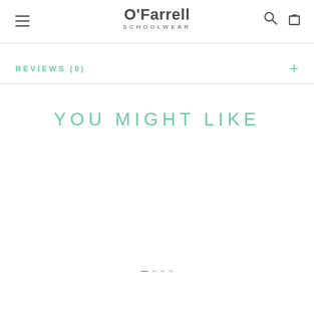O'Farrell SCHOOLWEAR
REVIEWS (0)
YOU MIGHT LIKE